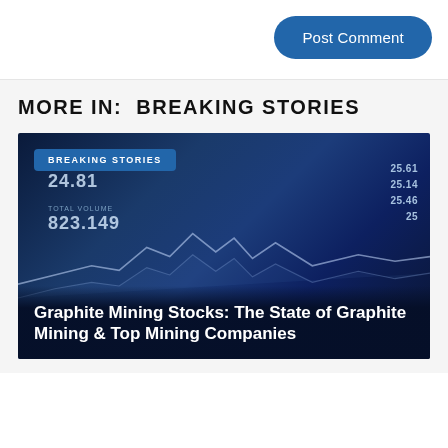Post Comment
MORE IN:  BREAKING STORIES
[Figure (photo): Stock market data displayed on a mobile screen showing figures including PREVIOUS CLOSE 24.81 and TOTAL VOLUME 823.149 with a line chart, overlaid with BREAKING STORIES tag and article title]
Graphite Mining Stocks: The State of Graphite Mining & Top Mining Companies